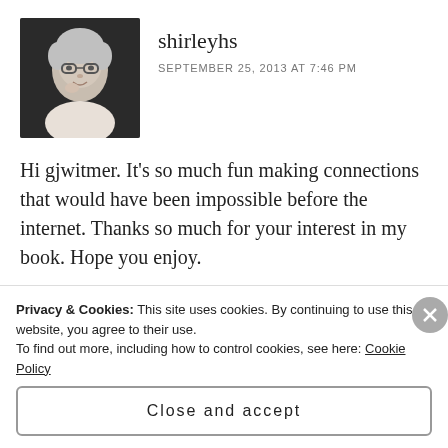[Figure (photo): Avatar photo of shirleyhs: elderly woman with white/gray hair and glasses, wearing a white top, hand near chin, dark background]
shirleyhs
SEPTEMBER 25, 2013 AT 7:46 PM
Hi gjwitmer. It's so much fun making connections that would have been impossible before the internet. Thanks so much for your interest in my book. Hope you enjoy.
★ Like
Reply
Privacy & Cookies: This site uses cookies. By continuing to use this website, you agree to their use.
To find out more, including how to control cookies, see here: Cookie Policy
Close and accept